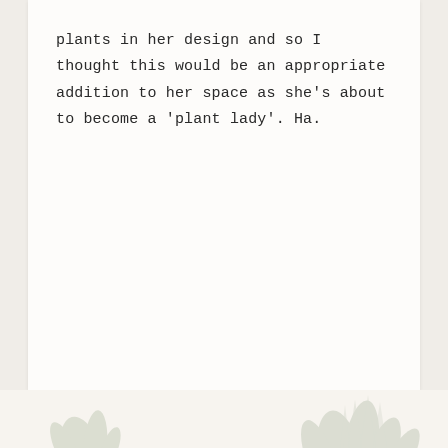plants in her design and so I thought this would be an appropriate addition to her space as she's about to become a 'plant lady'. Ha.
[Figure (illustration): Faint botanical illustration of plants/succulents at the bottom of the page, rendered in light grayish-green tones]